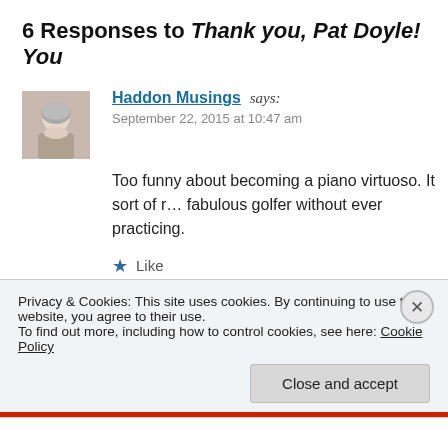6 Responses to Thank you, Pat Doyle! You
Haddon Musings says:
September 22, 2015 at 10:47 am
Too funny about becoming a piano virtuoso. It sort of r... fabulous golfer without ever practicing.
Like
Reply
bakrawiec says:
Privacy & Cookies: This site uses cookies. By continuing to use this website, you agree to their use.
To find out more, including how to control cookies, see here: Cookie Policy
Close and accept